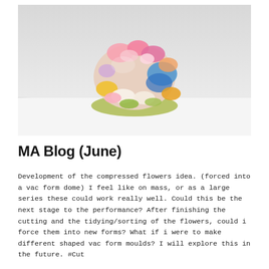[Figure (photo): A dome-shaped sculpture made of compressed artificial flowers with colourful fabric petals (pink, blue, yellow, white) placed on a white surface against a light grey background.]
MA Blog (June)
Development of the compressed flowers idea. (forced into a vac form dome) I feel like on mass, or as a large series these could work really well. Could this be the next stage to the performance? After finishing the cutting and the tidying/sorting of the flowers, could i force them into new forms? What if i were to make different shaped vac form moulds? I will explore this in the future. #Cut